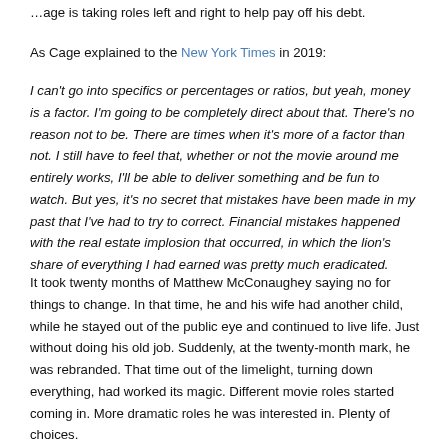…age is taking roles left and right to help pay off his debt.
As Cage explained to the New York Times in 2019:
I can't go into specifics or percentages or ratios, but yeah, money is a factor. I'm going to be completely direct about that. There's no reason not to be. There are times when it's more of a factor than not. I still have to feel that, whether or not the movie around me entirely works, I'll be able to deliver something and be fun to watch. But yes, it's no secret that mistakes have been made in my past that I've had to try to correct. Financial mistakes happened with the real estate implosion that occurred, in which the lion's share of everything I had earned was pretty much eradicated.
It took twenty months of Matthew McConaughey saying no for things to change. In that time, he and his wife had another child, while he stayed out of the public eye and continued to live life. Just without doing his old job. Suddenly, at the twenty-month mark, he was rebranded. That time out of the limelight, turning down everything, had worked its magic. Different movie roles started coming in. More dramatic roles he was interested in. Plenty of choices.